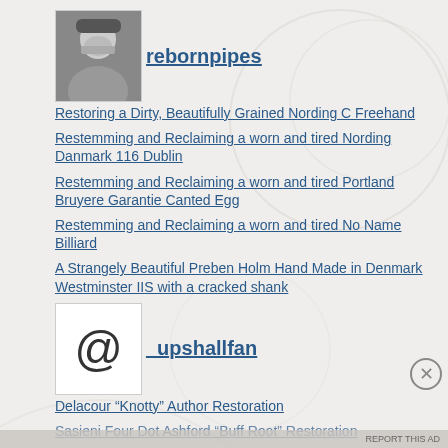[Figure (photo): Avatar photo of bearded man with hat, username rebornpipes]
Restoring a Dirty, Beautifully Grained Nording C Freehand
Restemming and Reclaiming a worn and tired Nording Danmark 116 Dublin
Restemming and Reclaiming a worn and tired Portland Bruyere Garantie Canted Egg
Restemming and Reclaiming a worn and tired No Name Billiard
A Strangely Beautiful Preben Holm Hand Made in Denmark Westminster IIS with a cracked shank
[Figure (illustration): Avatar with @ symbol, username _upshallfan]
Delacour “Knotty” Author Restoration
Sasieni Four Dot Ashford “Buff Root” Restoration
Advertisements
[Figure (screenshot): Seamless pizza advertisement banner with ORDER NOW button]